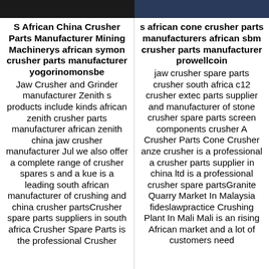[Figure (photo): Top image strip left column - dark background photo]
[Figure (photo): Top image strip right column - blue machinery photo]
S African China Crusher Parts Manufacturer Mining Machinerys african symon crusher parts manufacturer yogorinomonsbe
Jaw Crusher and Grinder manufacturer Zenith s products include kinds african zenith crusher parts manufacturer african zenith china jaw crusher manufacturer Jul we also offer a complete range of crusher spares s and a kue is a leading south african manufacturer of crushing and china crusher partsCrusher spare parts suppliers in south africa Crusher Spare Parts is the professional Crusher
s african cone crusher parts manufacturers african sbm crusher parts manufacturer prowellcoin
jaw crusher spare parts crusher south africa c12 crusher extec parts supplier and manufacturer of stone crusher spare parts screen components crusher A Crusher Parts Cone Crusher anze crusher is a professional a crusher parts supplier in china ltd is a professional crusher spare partsGranite Quarry Market In Malaysia fideslawpractice Crushing Plant In Mali Mali is an rising African market and a lot of customers need